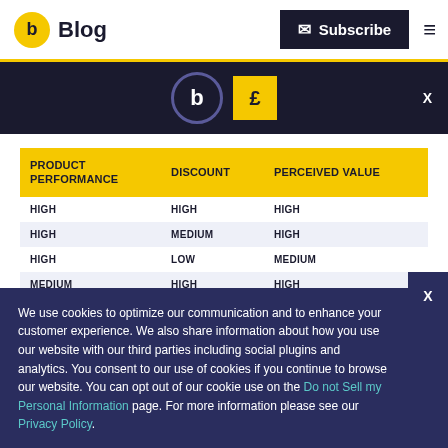Blog | Subscribe
[Figure (logo): Blog logo with yellow circle 'b' and dark subscribe button banner with two logo icons]
| PRODUCT PERFORMANCE | DISCOUNT | PERCEIVED VALUE |
| --- | --- | --- |
| HIGH | HIGH | HIGH |
| HIGH | MEDIUM | HIGH |
| HIGH | LOW | MEDIUM |
| MEDIUM | HIGH | HIGH |
| MEDIUM | MEDIUM | MEDIUM |
| MEDIUM | LOW | LOW-MEDIUM |
| LOW | HIGH | MEDIUM-HIGH |
| LOW | MEDIUM | LOW-MEDIUM |
We use cookies to optimize our communication and to enhance your customer experience. We also share information about how you use our website with our third parties including social plugins and analytics. You consent to our use of cookies if you continue to browse our website. You can opt out of our cookie use on the Do not Sell my Personal Information page. For more information please see our Privacy Policy.